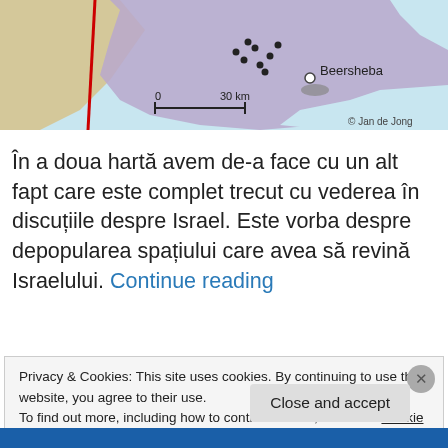[Figure (map): Map showing Beersheba region with purple shaded area, scale bar showing 0-30 km, red line on the left, and copyright 'Jan de Jong' in bottom right.]
În a doua hartă avem de-a face cu un alt fapt care este complet trecut cu vederea în discuțiile despre Israel. Este vorba despre depopularea spațiului care avea să revină Israelului. Continue reading
Privacy & Cookies: This site uses cookies. By continuing to use this website, you agree to their use.
To find out more, including how to control cookies, see here: Cookie Policy
Close and accept